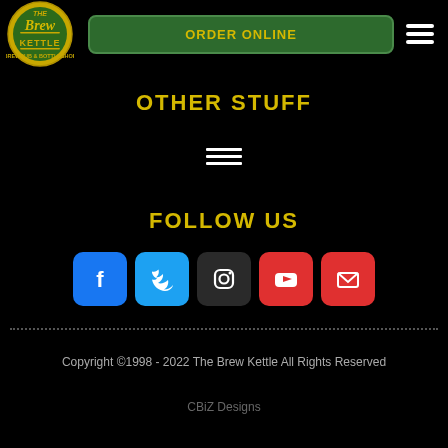LOCATIONS
[Figure (logo): The Brew Kettle circular logo with yellow and green text on black background]
ORDER ONLINE
OTHER STUFF
[Figure (infographic): Hamburger menu icon (three horizontal white lines)]
FOLLOW US
[Figure (infographic): Social media icons row: Facebook, Twitter, Instagram, YouTube, Email]
Copyright ©1998 - 2022 The Brew Kettle All Rights Reserved
CBiZ Designs